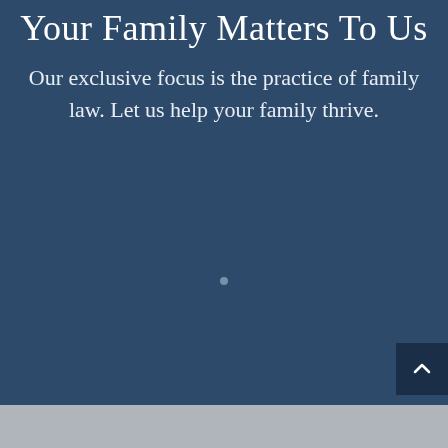Your Family Matters To Us
Our exclusive focus is the practice of family law. Let us help your family thrive.
[Figure (illustration): Small grey circular dot indicator in the center of a dark navy blue background section]
[Figure (photo): Dark navy scroll-to-top button with upward chevron arrow in bottom right corner]
[Figure (photo): Greyscale photo strip at the bottom of the page showing an outdoor scene]